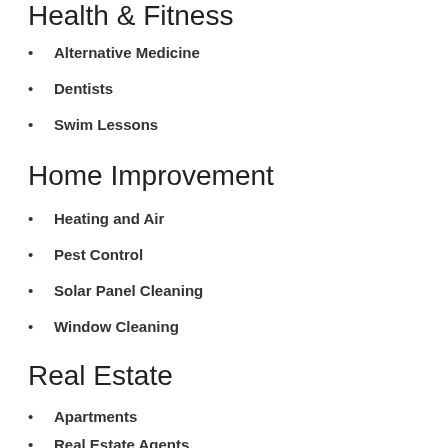Health & Fitness
Alternative Medicine
Dentists
Swim Lessons
Home Improvement
Heating and Air
Pest Control
Solar Panel Cleaning
Window Cleaning
Real Estate
Apartments
Real Estate Agents